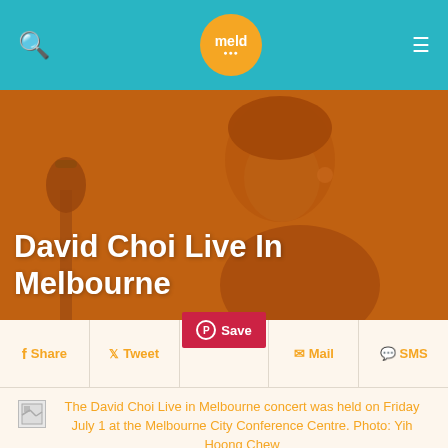meld
[Figure (photo): Orange-tinted photo of David Choi performing at a microphone, eyes closed, with text overlay 'David Choi Live In Melbourne']
David Choi Live In Melbourne
Share  Tweet  Save  Mail  SMS
The David Choi Live in Melbourne concert was held on Friday July 1 at the Melbourne City Conference Centre. Photo: Yih Hoong Chew
The David Choi Live in Melbourne concert was held on Friday July 1 at the Melbourne City Conference Centre. Photo: Yih Hoong Chew